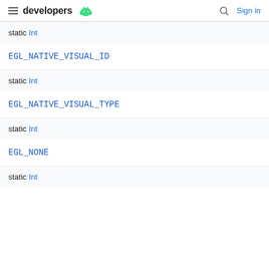developers [android logo] | [search] Sign in
static Int
EGL_NATIVE_VISUAL_ID
static Int
EGL_NATIVE_VISUAL_TYPE
static Int
EGL_NONE
static Int